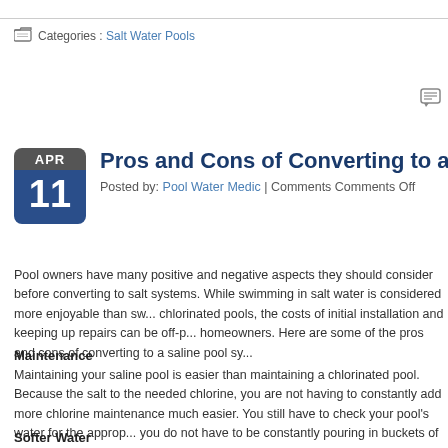Categories : Salt Water Pools
[Figure (illustration): Comment/chat bubble icon in top right area]
Pros and Cons of Converting to a Salt
Posted by: Pool Water Medic | Comments Comments Off
Pool owners have many positive and negative aspects they should consider before converting to salt systems. While swimming in salt water is considered more enjoyable than swimming in chlorinated pools, the costs of initial installation and keeping up repairs can be off-putting to some homeowners. Here are some of the pros and cons of converting to a saline pool sy...
Maintenance
Maintaining your saline pool is easier than maintaining a chlorinated pool. Because the salt to the needed chlorine, you are not having to constantly add more chlorine maintenance much easier. You still have to check your pool's water for the approp... you do not have to be constantly pouring in buckets of chemicals to keep your poo...
Softer Water
Although saltwater pools do still contain chlorine, their water is much Read More→